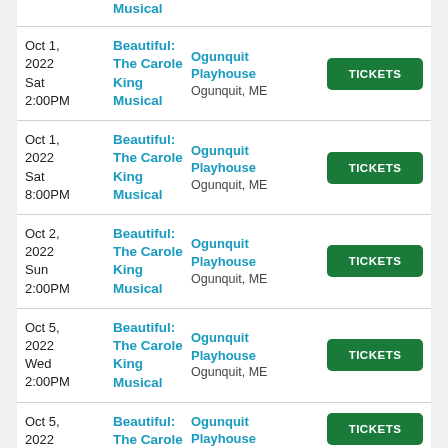Musical (partial top)
Oct 1, 2022 Sat 2:00PM | Beautiful: The Carole King Musical | Ogunquit Playhouse, Ogunquit, ME | TICKETS
Oct 1, 2022 Sat 8:00PM | Beautiful: The Carole King Musical | Ogunquit Playhouse, Ogunquit, ME | TICKETS
Oct 2, 2022 Sun 2:00PM | Beautiful: The Carole King Musical | Ogunquit Playhouse, Ogunquit, ME | TICKETS
Oct 5, 2022 Wed 2:00PM | Beautiful: The Carole King Musical | Ogunquit Playhouse, Ogunquit, ME | TICKETS
Oct 5, 2022 Wed 8:00PM | Beautiful: The Carole King Musical | Ogunquit Playhouse, Ogunquit, ME | TICKETS (partial bottom)